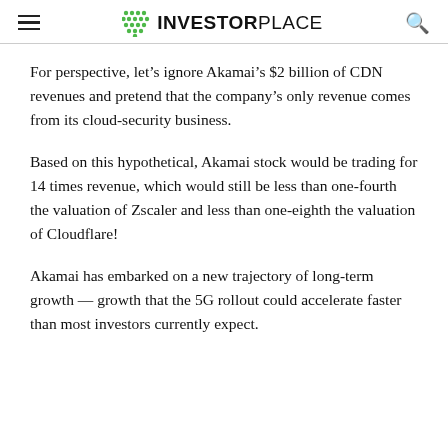INVESTORPLACE
For perspective, let’s ignore Akamai’s $2 billion of CDN revenues and pretend that the company’s only revenue comes from its cloud-security business.
Based on this hypothetical, Akamai stock would be trading for 14 times revenue, which would still be less than one-fourth the valuation of Zscaler and less than one-eighth the valuation of Cloudflare!
Akamai has embarked on a new trajectory of long-term growth — growth that the 5G rollout could accelerate faster than most investors currently expect.